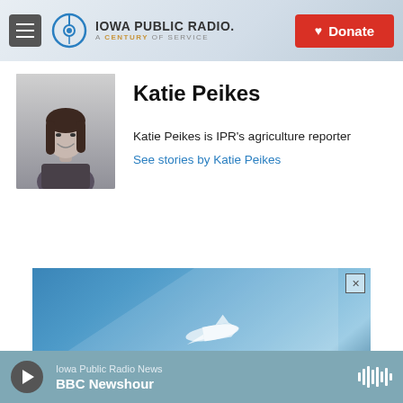Iowa Public Radio. A Century of Service. Donate.
Katie Peikes
[Figure (photo): Black and white headshot photo of Katie Peikes, smiling, with long dark hair]
Katie Peikes is IPR's agriculture reporter
See stories by Katie Peikes
[Figure (photo): Advertisement image showing a blue sky with a diagonal stripe and partial airplane silhouette]
Iowa Public Radio News
BBC Newshour